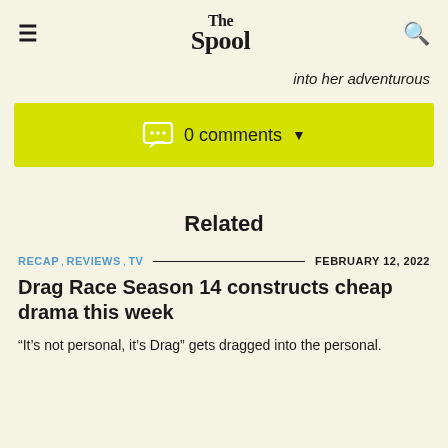The Spool
into her adventurous
0 comments
Related
RECAP, REVIEWS, TV — FEBRUARY 12, 2022
Drag Race Season 14 constructs cheap drama this week
“It’s not personal, it’s Drag” gets dragged into the personal.